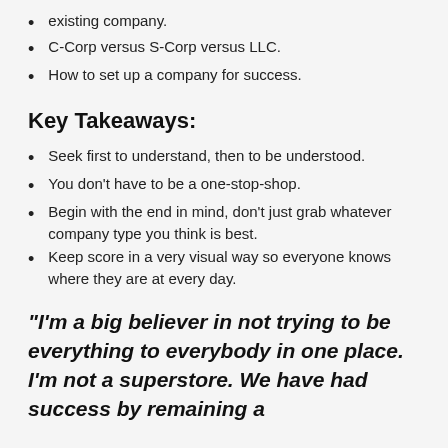existing company.
C-Corp versus S-Corp versus LLC.
How to set up a company for success.
Key Takeaways:
Seek first to understand, then to be understood.
You don't have to be a one-stop-shop.
Begin with the end in mind, don't just grab whatever company type you think is best.
Keep score in a very visual way so everyone knows where they are at every day.
“I’m a big believer in not trying to be everything to everybody in one place. I’m not a superstore. We have had success by remaining a